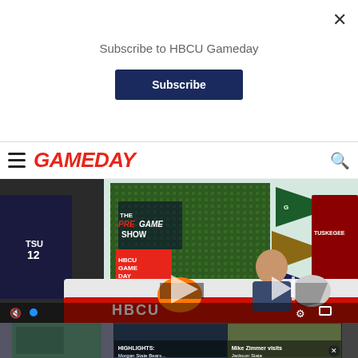Subscribe to HBCU Gameday
Subscribe
[Figure (screenshot): HBCU Gameday website navbar with hamburger menu, red GAMEDAY logo, and search icon]
[Figure (screenshot): HBCU Gameday video player showing The Pregame Show studio with host at desk, football helmets, pennants, and HBCU Gameday branding. Video controls visible at bottom including mute, play, skip, settings, and fullscreen buttons.]
[Figure (screenshot): Thumbnail of Jackson State video]
HIGHLIGHTS: Morgan State Bears...
Mike Zimmer visits Jackson State